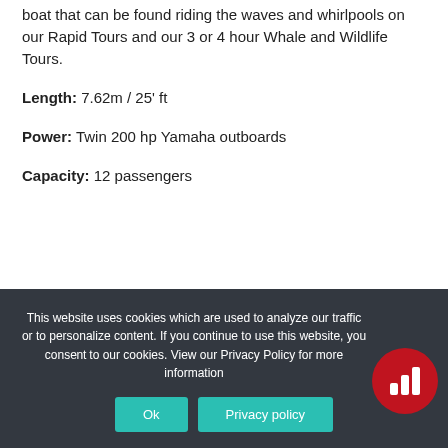boat that can be found riding the waves and whirlpools on our Rapid Tours and our 3 or 4 hour Whale and Wildlife Tours.
Length: 7.62m / 25' ft
Power: Twin 200 hp Yamaha outboards
Capacity: 12 passengers
This website uses cookies which are used to analyze our traffic or to personalize content. If you continue to use this website, you consent to our cookies. View our Privacy Policy for more information.